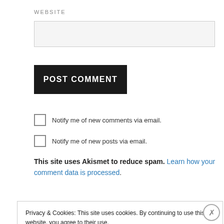WEBSITE
[Figure (other): Empty text input field for website URL]
[Figure (other): POST COMMENT submit button, black background, white uppercase text]
Notify me of new comments via email.
Notify me of new posts via email.
This site uses Akismet to reduce spam. Learn how your comment data is processed.
Privacy & Cookies: This site uses cookies. By continuing to use this website, you agree to their use. To find out more, including how to control cookies, see here: Cookie Policy
Close and accept